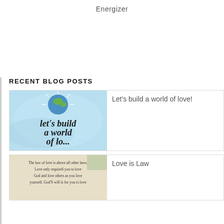Energizer
RECENT BLOG POSTS
[Figure (illustration): Illustration of a heart-shaped globe with light rays and cursive text reading 'let's build a world of...' on a light blue watercolor background]
Let's build a world of love!
[Figure (illustration): Image with beige background and text: 'The law of love is above all other laws. Love only requires you to love God and love others as you love yourself. God's will is for you to love']
Love is Law